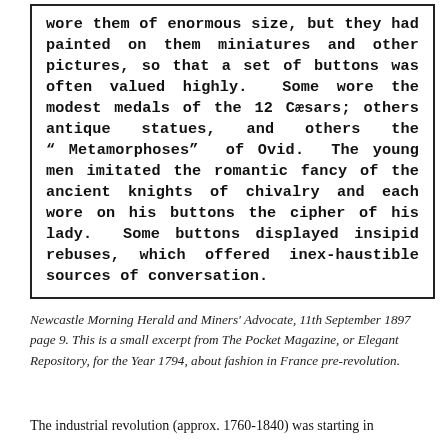[Figure (other): Newspaper excerpt in a bordered box with bold monospace text describing fashion buttons in France]
Newcastle Morning Herald and Miners' Advocate, 11th September 1897 page 9. This is a small excerpt from The Pocket Magazine, or Elegant Repository, for the Year 1794, about fashion in France pre-revolution.
The industrial revolution (approx. 1760-1840) was starting in